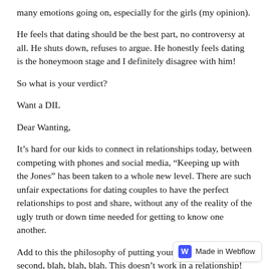many emotions going on, especially for the girls (my opinion).
He feels that dating should be the best part, no controversy at all. He shuts down, refuses to argue. He honestly feels dating is the honeymoon stage and I definitely disagree with him!
So what is your verdict?
Want a DIL
Dear Wanting,
It’s hard for our kids to connect in relationships today, between competing with phones and social media, “Keeping up with the Jones” has been taken to a whole new level. There are such unfair expectations for dating couples to have the perfect relationships to post and share, without any of the reality of the ugly truth or down time needed for getting to know one another.
Add to this the philosophy of putting yourself first, never be second, blah, blah, blah. This doesn’t work in a relationship! It’s not give and take, it’s g knowing some days you come in second place, some